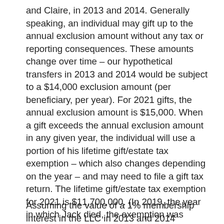and Claire, in 2013 and 2014. Generally speaking, an individual may gift up to the annual exclusion amount without any tax or reporting consequences. These amounts change over time – our hypothetical transfers in 2013 and 2014 would be subject to a $14,000 exclusion amount (per beneficiary, per year). For 2021 gifts, the annual exclusion amount is $15,000. When a gift exceeds the annual exclusion amount in any given year, the individual will use a portion of his lifetime gift/estate tax exemption – which also changes depending on the year – and may need to file a gift tax return. The lifetime gift/estate tax exemption for 2021 is $11,700,000. (In 2019, the year in which Jack died, the exemption was $11,400,000.) These gifting rules do not apply to everyone and everything, so it is important to consult with an experienced estate planning attorney whenever you consider making substantial gifts to others.
Assuming the value of a 1% membership interest in the LLC in 2013 and 2014 exceeded $14,000, Jack